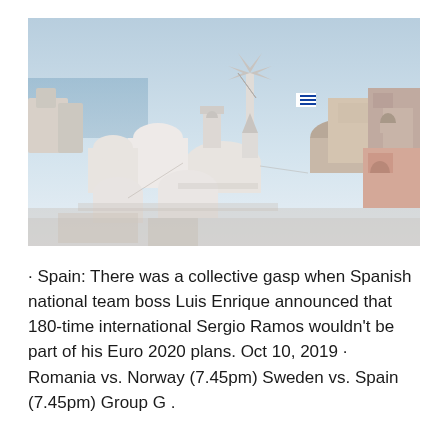[Figure (photo): Aerial view of Santorini, Greece, showing white-washed buildings with dome roofs, a traditional windmill, and a Greek flag, against a light blue sky.]
· Spain: There was a collective gasp when Spanish national team boss Luis Enrique announced that 180-time international Sergio Ramos wouldn't be part of his Euro 2020 plans. Oct 10, 2019 · Romania vs. Norway (7.45pm) Sweden vs. Spain (7.45pm) Group G .